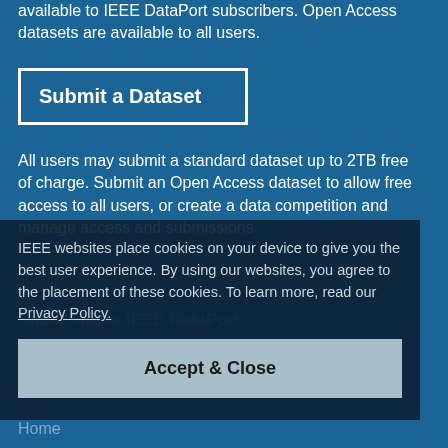available to IEEE DataPort subscribers. Open Access datasets are available to all users.
Submit a Dataset
All users may submit a standard dataset up to 2TB free of charge. Submit an Open Access dataset to allow free access to all users, or create a data competition and manage access and submissions.
IEEE websites place cookies on your device to give you the best user experience. By using our websites, you agree to the placement of these cookies. To learn more, read our Privacy Policy.
Subscribe to IEEE DataPort
IEEE DataPort Subscribers can download all our datasets or access them directly on AWS.
Accept & Close
Home